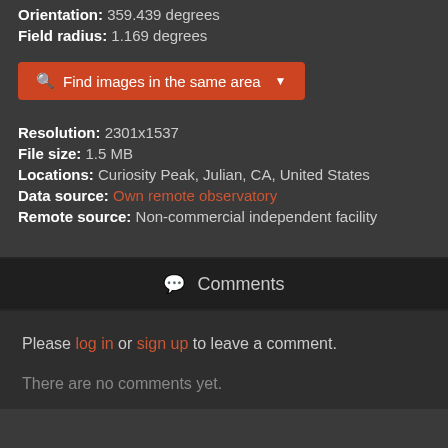Orientation: 359.439 degrees
Field radius: 1.169 degrees
[Figure (screenshot): Orange button: Find images in the same area with dropdown arrow]
Resolution: 2301x1537
File size: 1.5 MB
Locations: Curiosity Peak, Julian, CA, United States
Data source: Own remote observatory
Remote source: Non-commercial independent facility
Comments
Please log in or sign up to leave a comment.
There are no comments yet.